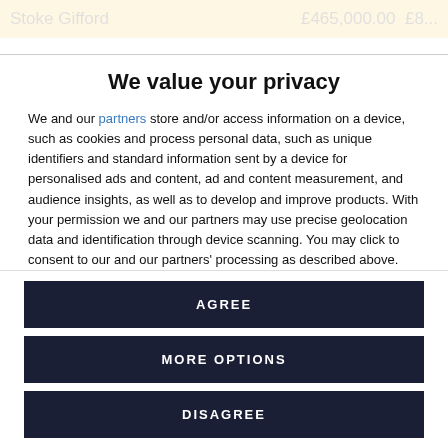Stoke Gifford   £465,000.00   £8...
We value your privacy
We and our partners store and/or access information on a device, such as cookies and process personal data, such as unique identifiers and standard information sent by a device for personalised ads and content, ad and content measurement, and audience insights, as well as to develop and improve products. With your permission we and our partners may use precise geolocation data and identification through device scanning. You may click to consent to our and our partners' processing as described above. Alternatively you may click to refuse to consent or access more detailed information and change your
AGREE
MORE OPTIONS
DISAGREE